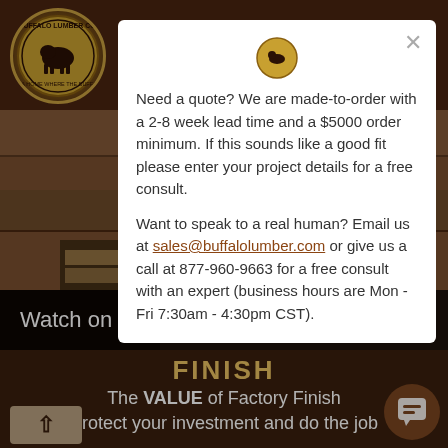[Figure (screenshot): Buffalo Lumber Co. website screenshot showing navigation bar with logo, video thumbnail with 'Watch on YouTube' bar, and bottom section with 'FINISH' heading and 'The VALUE of Factory Finish' and 'Protect your investment and do the job' text]
Need a quote? We are made-to-order with a 2-8 week lead time and a $5000 order minimum. If this sounds like a good fit please enter your project details for a free consult.
Want to speak to a real human? Email us at sales@buffalolumber.com or give us a call at 877-960-9663 for a free consult with an expert (business hours are Mon - Fri 7:30am - 4:30pm CST).